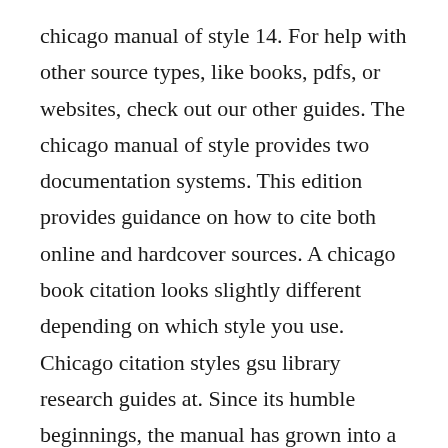chicago manual of style 14. For help with other source types, like books, pdfs, or websites, check out our other guides. The chicago manual of style provides two documentation systems. This edition provides guidance on how to cite both online and hardcover sources. A chicago book citation looks slightly different depending on which style you use. Chicago citation styles gsu library research guides at. Since its humble beginnings, the manual has grown into a book of pages with over 2000 hyperlinked pages online. Books with multiple editions chi...